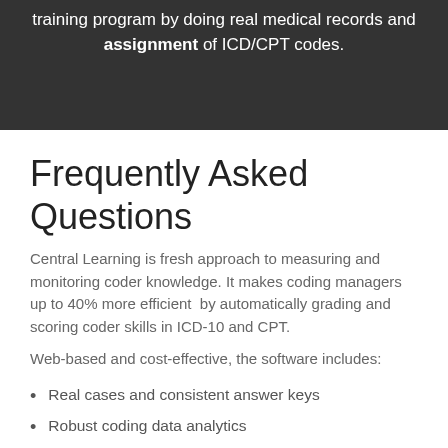training program by doing real medical records and assignment of ICD/CPT codes.
Frequently Asked Questions
Central Learning is fresh approach to measuring and monitoring coder knowledge. It makes coding managers up to 40% more efficient by automatically grading and scoring coder skills in ICD-10 and CPT.
Web-based and cost-effective, the software includes:
Real cases and consistent answer keys
Robust coding data analytics
Graphs, tables and coder skill gap reports